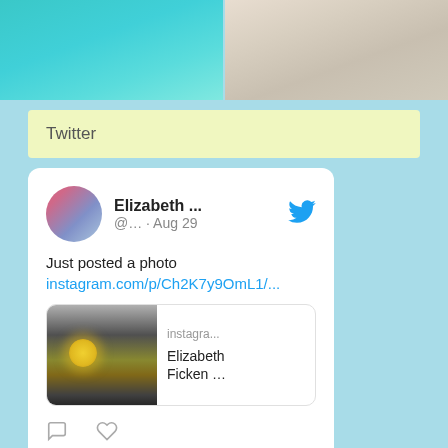[Figure (photo): Two photos side by side at top: left shows turquoise blue water, right shows sandy beach shore.]
Twitter
[Figure (screenshot): Twitter embed card showing a tweet from Elizabeth ... (@... · Aug 29) with text 'Just posted a photo instagram.com/p/Ch2K7y9OmL1/...' and an Instagram link preview showing a sunset photo with label 'instagra... Elizabeth Ficken ...'. Below are comment and like icons. Below the tweet card is a 'View more on Twitter' button.]